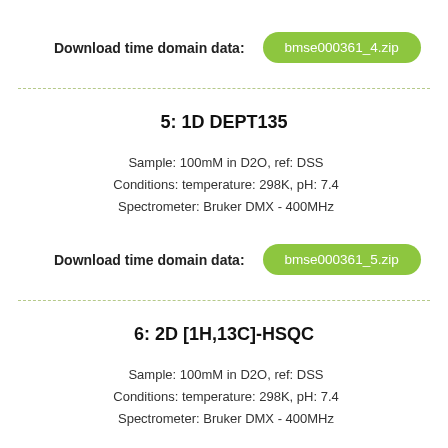Download time domain data:  bmse000361_4.zip
5:  1D DEPT135
Sample: 100mM in D2O, ref: DSS
Conditions: temperature: 298K, pH: 7.4
Spectrometer: Bruker DMX - 400MHz
Download time domain data:  bmse000361_5.zip
6:  2D [1H,13C]-HSQC
Sample: 100mM in D2O, ref: DSS
Conditions: temperature: 298K, pH: 7.4
Spectrometer: Bruker DMX - 400MHz